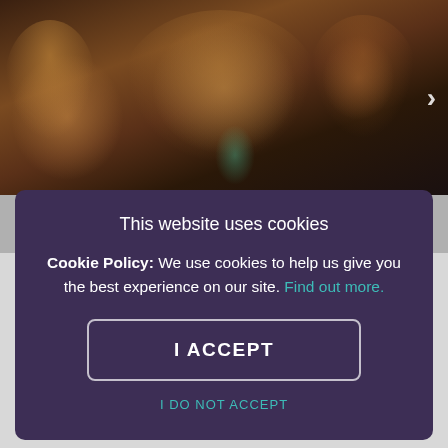[Figure (photo): Nightclub scene with people dancing and socializing in dim lighting. A navigation arrow is visible on the right side.]
This website uses cookies
Cookie Policy: We use cookies to help us give you the best experience on our site. Find out more.
I ACCEPT
I DO NOT ACCEPT
Mexican style and tequila laden cocktails are the name of the game at this plush pad. Spice up your night with a bit of Latino flare, lush drinks and an all-round fun atmosphere.